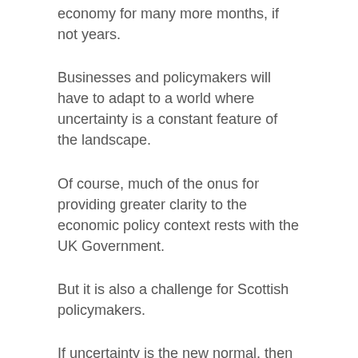economy for many more months, if not years.
Businesses and policymakers will have to adapt to a world where uncertainty is a constant feature of the landscape.
Of course, much of the onus for providing greater clarity to the economic policy context rests with the UK Government.
But it is also a challenge for Scottish policymakers.
If uncertainty is the new normal, then a clarity of purpose on devolved policy, whether that be in setting out a clear direction of travel on devolved taxation, infrastructure, planning and wider economic development, becomes all the more important.